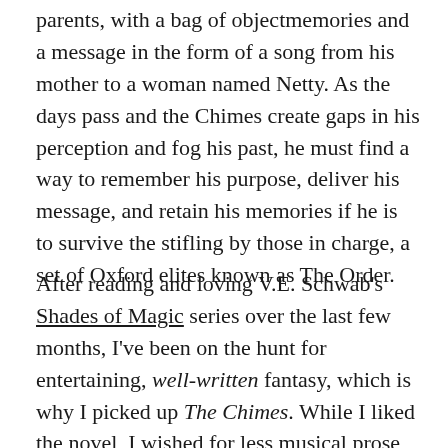parents, with a bag of objectmemories and a message in the form of a song from his mother to a woman named Netty. As the days pass and the Chimes create gaps in his perception and fog his past, he must find a way to remember his purpose, deliver his message, and retain his memories if he is to survive the stifling by those in charge, a set of Oxford elites known as The Order.
After reading and loving V.E. Schwab's Shades of Magic series over the last few months, I've been on the hunt for entertaining, well-written fantasy, which is why I picked up The Chimes. While I liked the novel, I wished for less musical prose and more world-building; there